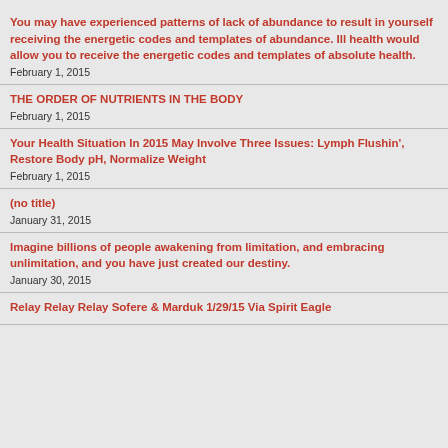You may have experienced patterns of lack of abundance to result in yourself receiving the energetic codes and templates of abundance. Ill health would allow you to receive the energetic codes and templates of absolute health.
February 1, 2015
THE ORDER OF NUTRIENTS IN THE BODY
February 1, 2015
Your Health Situation In 2015 May Involve Three Issues: Lymph Flushin', Restore Body pH, Normalize Weight
February 1, 2015
(no title)
January 31, 2015
Imagine billions of people awakening from limitation, and embracing unlimitation, and you have just created our destiny.
January 30, 2015
Relay Relay Relay Sofere & Marduk 1/29/15 Via Spirit Eagle